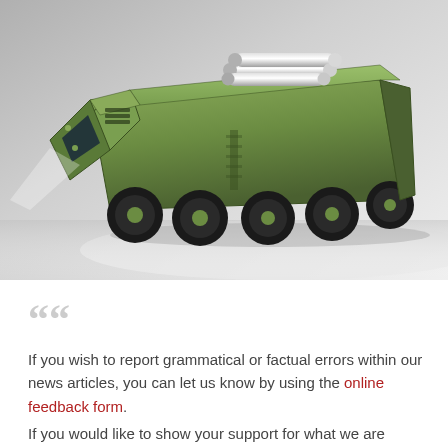[Figure (illustration): 3D rendering of a military missile launcher vehicle (large green multi-wheeled armored truck with cylindrical missile tubes on top), shown on a gray/white gradient background from an angled perspective.]
““ If you wish to report grammatical or factual errors within our news articles, you can let us know by using the online feedback form. If you would like to show your support for what we are